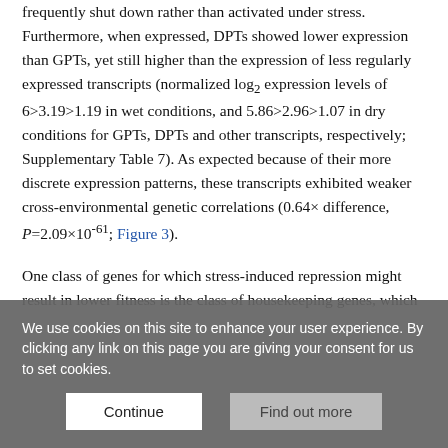frequently shut down rather than activated under stress. Furthermore, when expressed, DPTs showed lower expression than GPTs, yet still higher than the expression of less regularly expressed transcripts (normalized log₂ expression levels of 6>3.19>1.19 in wet conditions, and 5.86>2.96>1.07 in dry conditions for GPTs, DPTs and other transcripts, respectively; Supplementary Table 7). As expected because of their more discrete expression patterns, these transcripts exhibited weaker cross-environmental genetic correlations (0.64× difference, P=2.09×10⁻⁶¹; Figure 3).
One class of genes for which stress-induced repression might result in lower fitness is the class of housekeeping genes, which
We use cookies on this site to enhance your user experience. By clicking any link on this page you are giving your consent for us to set cookies.